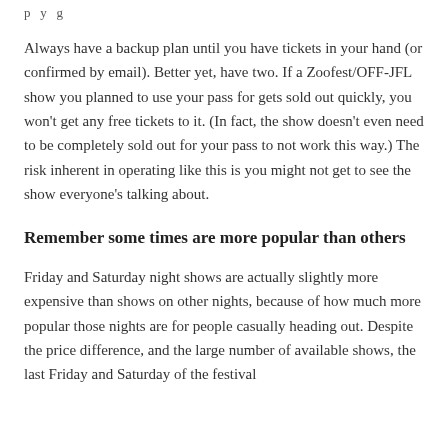p y g
Always have a backup plan until you have tickets in your hand (or confirmed by email). Better yet, have two. If a Zoofest/OFF-JFL show you planned to use your pass for gets sold out quickly, you won't get any free tickets to it. (In fact, the show doesn't even need to be completely sold out for your pass to not work this way.) The risk inherent in operating like this is you might not get to see the show everyone's talking about.
Remember some times are more popular than others
Friday and Saturday night shows are actually slightly more expensive than shows on other nights, because of how much more popular those nights are for people casually heading out. Despite the price difference, and the large number of available shows, the last Friday and Saturday of the festival